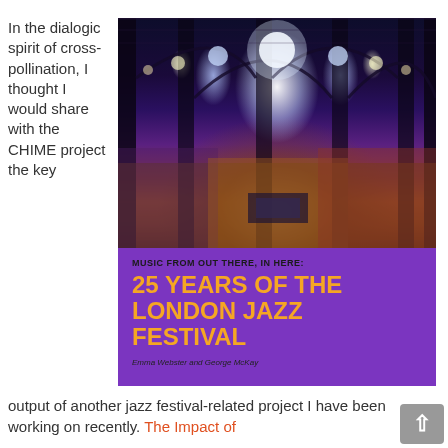In the dialogic spirit of cross-pollination, I thought I would share with the CHIME project the key
[Figure (photo): Book cover for 'Music From Out There, In Here: 25 Years of the London Jazz Festival' by Emma Webster and George McKay. Top portion shows a photograph of a packed concert venue with dramatic stage lighting, architectural columns and arched glass ceiling. Bottom portion has a purple background with the book title in large orange uppercase text and authors' names below.]
output of another jazz festival-related project I have been working on recently. The Impact of